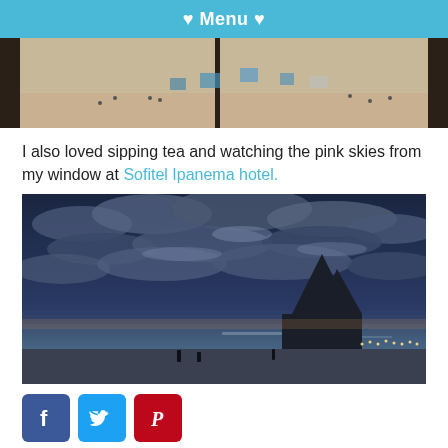♥ Menu ♥
[Figure (photo): Aerial/window view of a beach with people, umbrellas, and sand visible through a window frame]
I also loved sipping tea and watching the pink skies from my window at Sofitel Ipanema hotel.
[Figure (photo): Dramatic twilight/dusk sky with clouds over Ipanema beach, with twin peaks (Dois Irmãos) silhouetted in the background and city lights along the shore]
[Figure (infographic): Social media sharing icons: Facebook (blue), Twitter (light blue), Pinterest (red), LinkedIn (blue)]